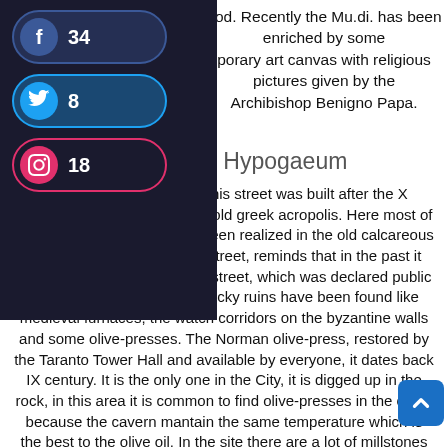[Figure (other): Social sharing sidebar with Facebook (34), Twitter (8), and Instagram (18) share buttons on a dark background]
ood. Recently the Mu.di. has been enriched by some porary art canvas with religious pictures given by the Archibishop Benigno Papa.
Olive-press Hypogaeum
pogaeum is in Via Cava, this street was built after the X century by Byzantines on the old greek acropolis. Here most of the houses and shops have been realized in the old calcareous tuff block. The name of the street, reminds that in the past it was a rock quarry. Along this street, which was declared public in the XIV century, a lot of rocky ruins have been found like medieval furnaces, the watch corridors on the byzantine walls and some olive-presses. The Norman olive-press, restored by the Taranto Tower Hall and available by everyone, it dates back IX century. It is the only one in the City, it is digged up in the rock, in this area it is common to find olive-presses in the cave, because the cavern mantain the same temperature which is the best to the olive oil. In the site there are a lot of millstones for the first pressing and little wells for garbage and setting of the olive oil. Inside the hypogaeum it has been organized a graphic, photographic and picture exposition by the students of the high school "Ca**lin Taranto), on some sight of interest of the old city. A passionat**ork, because "without memory of the past, never exist a good future" we